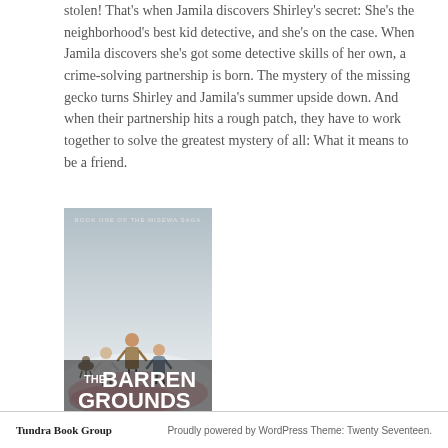stolen! That's when Jamila discovers Shirley's secret: She's the neighborhood's best kid detective, and she's on the case. When Jamila discovers she's got some detective skills of her own, a crime-solving partnership is born. The mystery of the missing gecko turns Shirley and Jamila's summer upside down. And when their partnership hits a rough patch, they have to work together to solve the greatest mystery of all: What it means to be a friend.
[Figure (illustration): Book cover of 'The Barren Grounds' by David A. Robertson. Subtitle reads 'Book One of the Misewa Saga'. Shows three children and an animal standing in a snowy landscape with a large hand or landmass below them. Title text in large block letters at bottom.]
Tundra Book Group    Proudly powered by WordPress Theme: Twenty Seventeen.